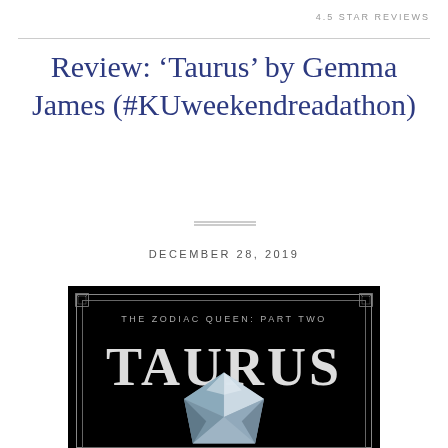4.5 STAR REVIEWS
Review: ‘Taurus’ by Gemma James (#KUweekendreadathon)
DECEMBER 28, 2019
[Figure (photo): Book cover of 'Taurus' by Gemma James, part of The Zodiac Queen series Part Two. Black cover with silver/grey decorative border and a gemstone (diamond/crystal) in the lower center.]